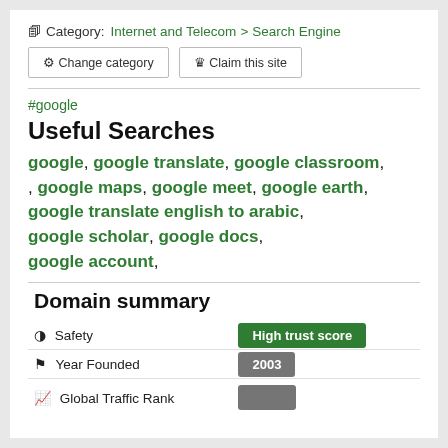Category: Internet and Telecom > Search Engine
Change category   Claim this site
#google
Useful Searches
google, google translate, google classroom, google maps, google meet, google earth, google translate english to arabic, google scholar, google docs, google account,
Domain summary
|  |  |
| --- | --- |
| Safety | High trust score |
| Year Founded | 2003 |
| Global Traffic Rank |  |